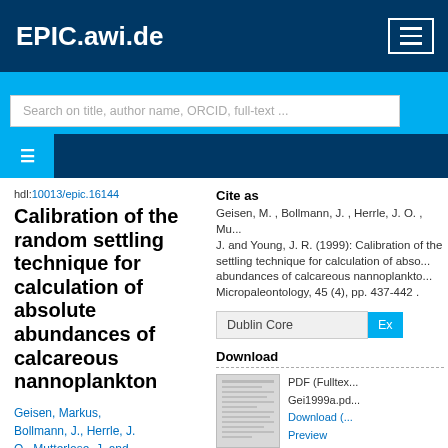EPIC.awi.de
Search on title, author name, ORCID, full-text ...
hdl:10013/epic.16144
Calibration of the random settling technique for calculation of absolute abundances of calcareous nannoplankton
Geisen, Markus, Bollmann, J., Herrle, J. O., Mutterlose, J. and
Cite as
Geisen, M. , Bollmann, J. , Herrle, J. O. , Mu... J. and Young, J. R. (1999): Calibration of the settling technique for calculation of abso... abundances of calcareous nannoplankto... Micropaleontology, 45 (4), pp. 437-442 .
Dublin Core
Download
PDF (Fulltex... Gei1999a.pd... Download (... Preview
Cite this document as: